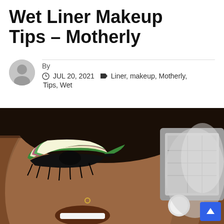Wet Liner Makeup Tips – Motherly
By
JUL 20, 2021   Liner, makeup, Motherly, Tips, Wet
[Figure (photo): Close-up photo of a smiling Black woman with artistic wet liner eye makeup in green, white, and pink layers, with dramatic black liner. A silver makeup palette is visible in the background.]